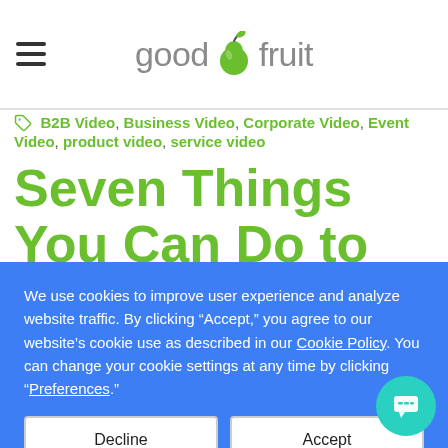good fruit
B2B Video, Business Video, Corporate Video, Event Video, product video, service video
Seven Things You Can Do to Save Time, Money and
We use cookies to improve user experience and analyze website traffic. By clicking “Accept,” you agree to our website’s cookie use as described in our Cookie Policy. You can change your cookie settings at any time by clicking “Preferences.”
Decline
Accept
Preferences